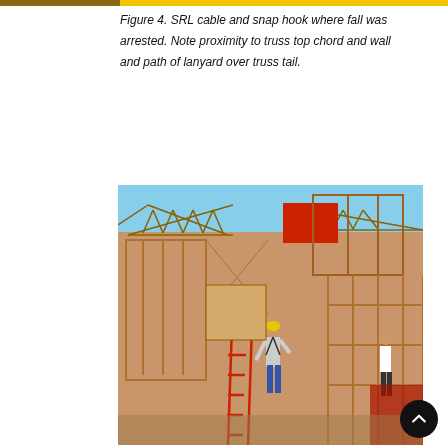[Figure (photo): Top strip showing partial photo of SRL cable and snap hook on left, yellow highlight bar on right]
Figure 4. SRL cable and snap hook where fall was arrested. Note proximity to truss top chord and wall and path of lanyard over truss tail.
[Figure (photo): Photograph of a residential construction site under a blue sky showing wood-framed walls and trusses, workers wearing harnesses, a red ladder, and construction materials. One worker is visible in the center wearing a fall-arrest harness.]